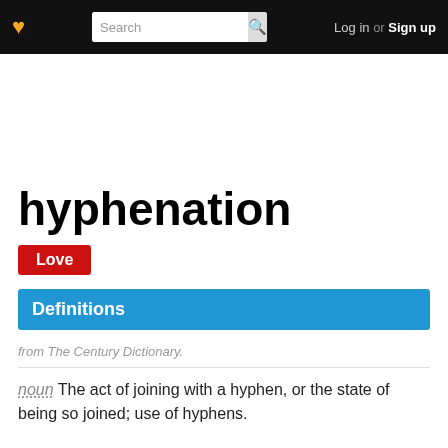♥  Search  Log in or Sign up
hyphenation
Love
Definitions
from The Century Dictionary.
noun The act of joining with a hyphen, or the state of being so joined; use of hyphens.